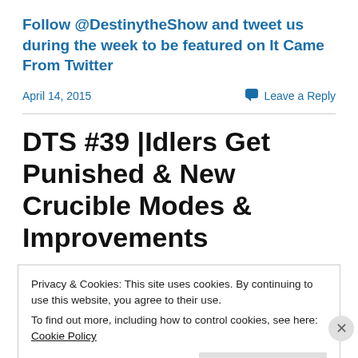Follow @DestinytheShow and tweet us during the week to be featured on It Came From Twitter
April 14, 2015
Leave a Reply
DTS #39 |Idlers Get Punished & New Crucible Modes & Improvements
Privacy & Cookies: This site uses cookies. By continuing to use this website, you agree to their use.
To find out more, including how to control cookies, see here: Cookie Policy
Close and accept